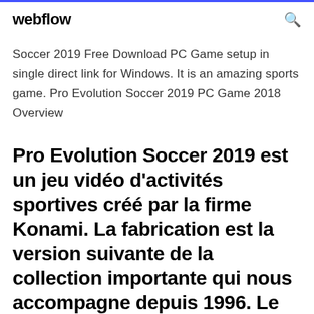webflow
Soccer 2019 Free Download PC Game setup in single direct link for Windows. It is an amazing sports game. Pro Evolution Soccer 2019 PC Game 2018 Overview
Pro Evolution Soccer 2019 est un jeu vidéo d'activités sportives créé par la firme Konami. La fabrication est la version suivante de la collection importante qui nous accompagne depuis 1996. Le